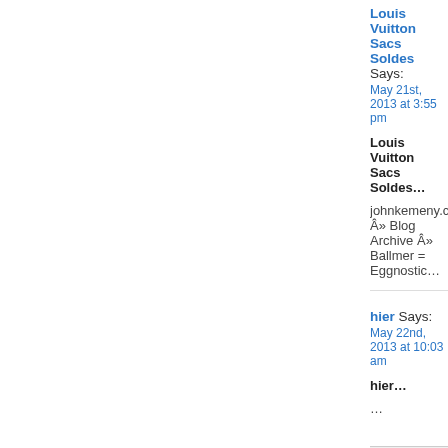Louis Vuitton Sacs Soldes Says:
May 21st, 2013 at 3:55 pm

Louis Vuitton Sacs Soldes…

johnkemeny.com Â» Blog Archive Â» Ballmer = Eggnostic…
hier Says:
May 22nd, 2013 at 10:03 am

hier…

…
jeremy scott adidas Says:
May 22nd, 2013 at 1:45 pm

jeremy scott adidas…

johnkemeny.com Â» Blog Archive Â» Ballmer = Eggnostic…
rayban sunglasses Says:
May 22nd, 2013 at 1:45 pm

rayban sunglasses…

johnkemeny.com Â» Blog Archive Â» Ballmer = Eggnostic…